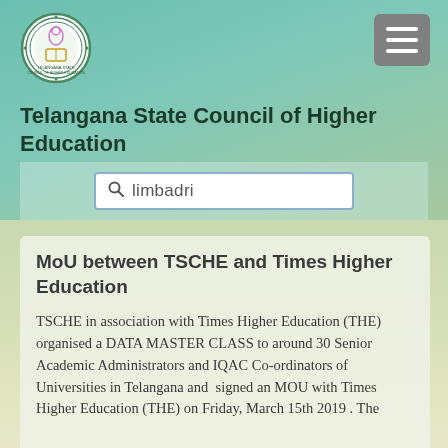[Figure (logo): Telangana State Council of Higher Education circular seal/logo in green and gold]
[Figure (other): Grey hamburger menu button with three white horizontal lines]
Telangana State Council of Higher Education
[Figure (other): Search bar with magnifying glass icon and text 'limbadri']
MoU between TSCHE and Times Higher Education
TSCHE in association with Times Higher Education (THE) organised a DATA MASTER CLASS to around 30 Senior Academic Administrators and IQAC Co-ordinators of Universities in Telangana and  signed an MOU with Times Higher Education (THE) on Friday, March 15th 2019 . The